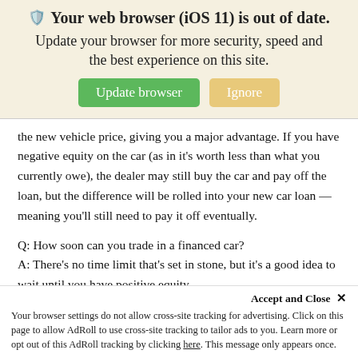[Figure (screenshot): Browser update notification banner with shield icon, bold title 'Your web browser (iOS 11) is out of date.', subtitle 'Update your browser for more security, speed and the best experience on this site.', and two buttons: green 'Update browser' and tan 'Ignore'.]
the new vehicle price, giving you a major advantage. If you have negative equity on the car (as in it's worth less than what you currently owe), the dealer may still buy the car and pay off the loan, but the difference will be rolled into your new car loan — meaning you'll still need to pay it off eventually.
Q: How soon can you trade in a financed car?
A: There's no time limit that's set in stone, but it's a good idea to wait until you have positive equity.
Q: What does it mean to be “upside down” on a car loan?
A: Being “upside down” on a car loan is the same thing as having negative equity. If, for example, you owe $30,000 on a car that's worth $25,000,
you have negative equity.
Accept and Close ×
Your browser settings do not allow cross-site tracking for advertising. Click on this page to allow AdRoll to use cross-site tracking to tailor ads to you. Learn more or opt out of this AdRoll tracking by clicking here. This message only appears once.